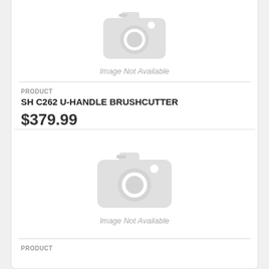[Figure (other): Image Not Available placeholder with camera icon (top, partial card)]
PRODUCT
SH C262 U-HANDLE BRUSHCUTTER
$379.99
[Figure (other): Image Not Available placeholder with camera icon (second card)]
PRODUCT